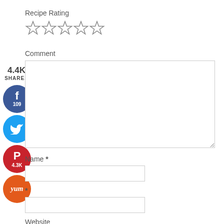Recipe Rating
[Figure (infographic): Five empty star rating icons]
Comment
[Figure (infographic): Comment text area input box]
[Figure (infographic): Social share sidebar with 4.4K shares, Facebook (109), Twitter, Pinterest (4.3K), and Yum buttons]
Name *
[Figure (infographic): Name input field]
* (email label area)
[Figure (infographic): Email input field]
Website
[Figure (infographic): Website input field]